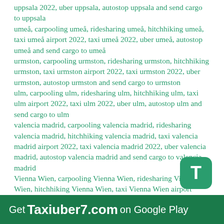uppsala 2022, uber uppsala, autostop uppsala and send cargo to uppsala
umeå, carpooling umeå, ridesharing umeå, hitchhiking umeå, taxi umeå airport 2022, taxi umeå 2022, uber umeå, autostop umeå and send cargo to umeå
urmston, carpooling urmston, ridesharing urmston, hitchhiking urmston, taxi urmston airport 2022, taxi urmston 2022, uber urmston, autostop urmston and send cargo to urmston
ulm, carpooling ulm, ridesharing ulm, hitchhiking ulm, taxi ulm airport 2022, taxi ulm 2022, uber ulm, autostop ulm and send cargo to ulm
valencia madrid, carpooling valencia madrid, ridesharing valencia madrid, hitchhiking valencia madrid, taxi valencia madrid airport 2022, taxi valencia madrid 2022, uber valencia madrid, autostop valencia madrid and send cargo to valencia madrid
Vienna Wien, carpooling Vienna Wien, ridesharing Vienna Wien, hitchhiking Vienna Wien, taxi Vienna Wien airport 2022, taxi Vienna Wien 2022, uber Vienna Wien, autostop Vienna Wien and send cargo to Vienna Wien
vancouver, carpooling vancouver, ridesharing vancouver, taxi vancouver airport 2022, taxi vancouver 2022, uber vancouver,
Get Taxiuber7.com on Google Play